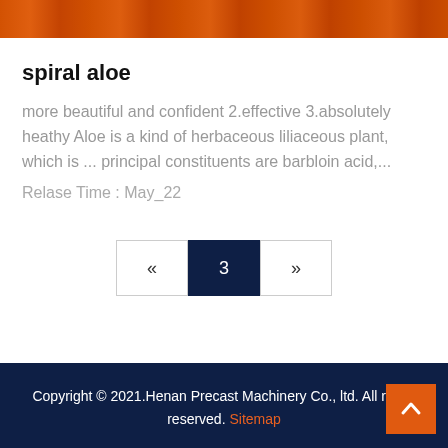[Figure (photo): Industrial machinery photo showing orange equipment, partial view at top of page]
spiral aloe
more beautiful and confident 2.effective 3.absolutely heathy Aloe is a kind of herbaceous liliaceous plant, which is ... principal constituents are barbloin acid,...
Relase Time : May_22
« 3 »
Copyright © 2021.Henan Precast Machinery Co., ltd. All rights reserved. Sitemap